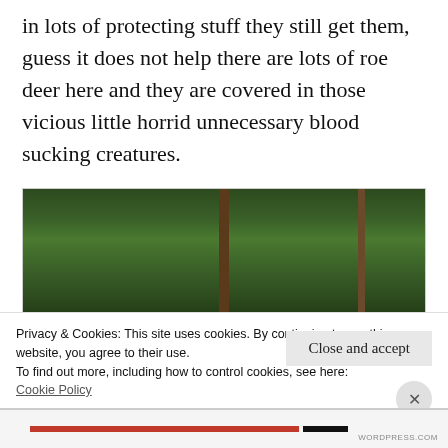in lots of protecting stuff they still get them, guess it does not help there are lots of roe deer here and they are covered in those vicious little horrid unnecessary blood sucking creatures.
[Figure (photo): A person wearing a colorful (pink/blue patterned) hat viewed from behind, walking in a dense green forest with conifer trees.]
Privacy & Cookies: This site uses cookies. By continuing to use this website, you agree to their use.
To find out more, including how to control cookies, see here:
Cookie Policy
Close and accept